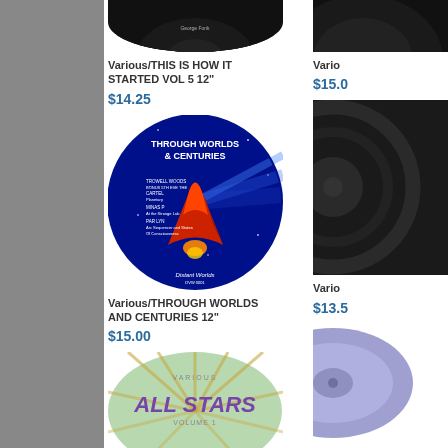[Figure (photo): Partial vinyl record label image at top, cut off]
Various/THIS IS HOW IT STARTED VOL 5 12"
$14.25
[Figure (photo): Oval vinyl record label: Through Worlds & Centuries, Distant Worlds label, blue/red space rocket artwork]
Various/THROUGH WORLDS AND CENTURIES 12"
$15.00
[Figure (photo): Oval green record label: All Stars Volume 1]
[Figure (photo): Partial right-column vinyl record image (cut off)]
Vario
$15.0
[Figure (photo): Partial right-column vinyl record mid image (cut off)]
Vario
$13.5
[Figure (photo): Partial right-column bottom oval record label (cut off), purple/lavender]